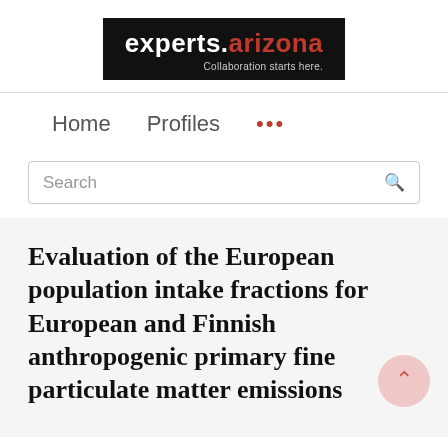[Figure (logo): experts.arizona logo — black background, white text 'experts.' and red text 'arizona', tagline 'Collaboration starts here.']
Home   Profiles   ...
Search
Evaluation of the European population intake fractions for European and Finnish anthropogenic primary fine particulate matter emissions